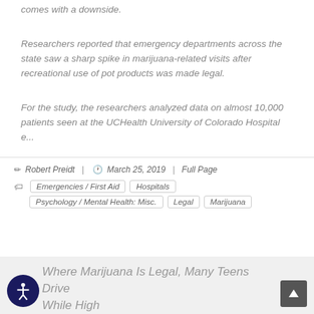comes with a downside.
Researchers reported that emergency departments across the state saw a sharp spike in marijuana-related visits after recreational use of pot products was made legal.
For the study, the researchers analyzed data on almost 10,000 patients seen at the UCHealth University of Colorado Hospital e...
Robert Preidt  |  March 25, 2019  |  Full Page
Emergencies / First Aid   Hospitals   Psychology / Mental Health: Misc.   Legal   Marijuana
Where Marijuana Is Legal, Many Teens Drive While High